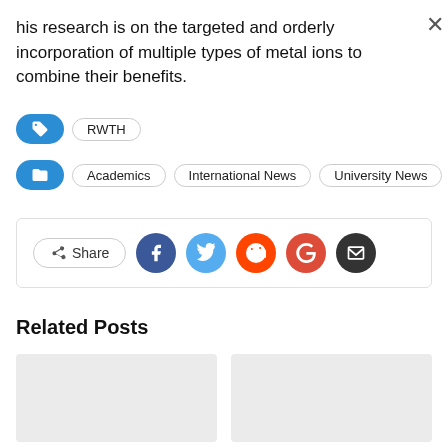his research is on the targeted and orderly incorporation of multiple types of metal ions to combine their benefits.
RWTH
Academics | International News | University News
[Figure (infographic): Share buttons row: Share label pill, Facebook, Twitter, Reddit, Google, Email social icon circles]
Related Posts
[Figure (photo): Two placeholder gray image cards for related posts]